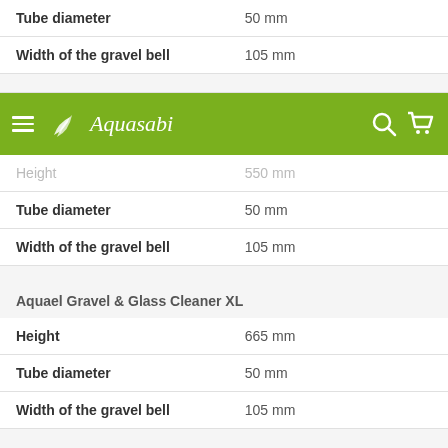| Property | Value |
| --- | --- |
| Tube diameter | 50 mm |
| Width of the gravel bell | 105 mm |
[Figure (screenshot): Aquasabi website navigation bar with green background, hamburger menu, Aquasabi logo, search and cart icons]
| Property | Value |
| --- | --- |
| Height | 550 mm |
| Tube diameter | 50 mm |
| Width of the gravel bell | 105 mm |
Aquael Gravel & Glass Cleaner XL
| Property | Value |
| --- | --- |
| Height | 665 mm |
| Tube diameter | 50 mm |
| Width of the gravel bell | 105 mm |